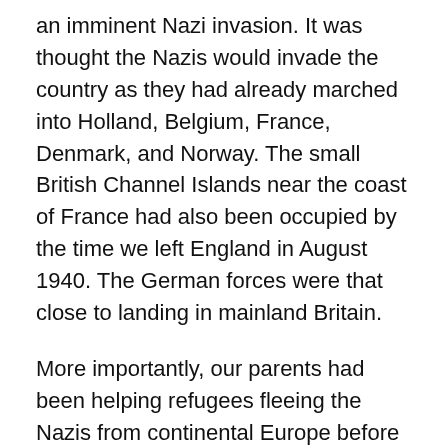an imminent Nazi invasion. It was thought the Nazis would invade the country as they had already marched into Holland, Belgium, France, Denmark, and Norway. The small British Channel Islands near the coast of France had also been occupied by the time we left England in August 1940. The German forces were that close to landing in mainland Britain.
More importantly, our parents had been helping refugees fleeing the Nazis from continental Europe before the war began. People from Poland, Hungary, Czechoslovakia, Austria, and Germany had passed through our house seeking safety, something any invading authorities would view as treasonable, particularly as some were Jews. Hence there was a felt need to get my sister and me right away from danger. My younger brother stayed at home, as he was only three years old and too young